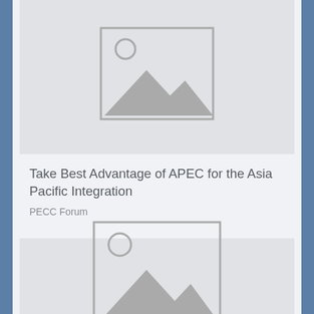[Figure (illustration): Image placeholder icon showing mountains and sun, top card]
Take Best Advantage of APEC for the Asia Pacific Integration
PECC Forum
[Figure (illustration): Image placeholder icon showing mountains and sun, bottom card]